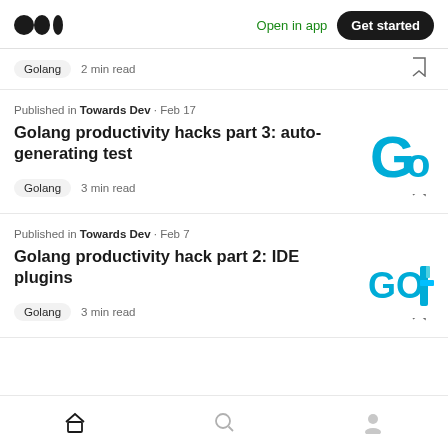Open in app | Get started
Golang · 2 min read
Published in Towards Dev · Feb 17
Golang productivity hacks part 3: auto-generating test
Golang · 3 min read
[Figure (logo): Golang G logo in teal/cyan color]
Published in Towards Dev · Feb 7
Golang productivity hack part 2: IDE plugins
Golang · 3 min read
[Figure (logo): GO logo in teal/cyan color with IDE plugin illustration]
Home | Search | Profile